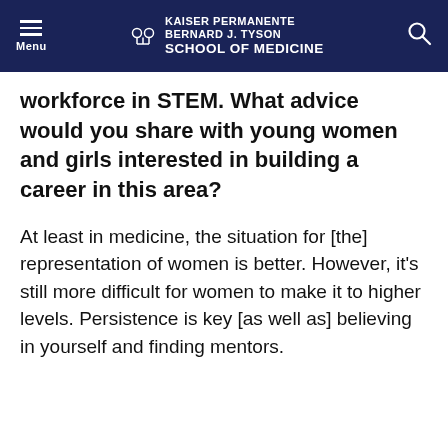Kaiser Permanente Bernard J. Tyson School of Medicine
workforce in STEM. What advice would you share with young women and girls interested in building a career in this area?
At least in medicine, the situation for [the] representation of women is better. However, it's still more difficult for women to make it to higher levels. Persistence is key [as well as] believing in yourself and finding mentors.